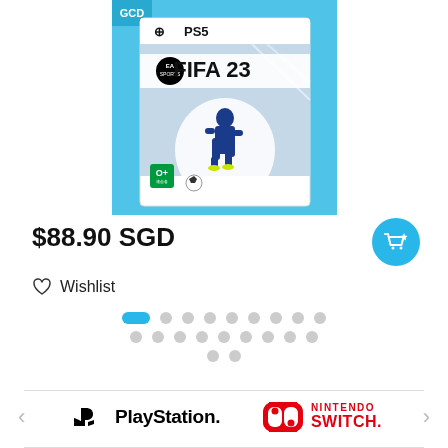[Figure (photo): FIFA 23 PS5 game cover shown as a product image on a light blue background with GCD branding. Features the EA Sports FIFA 23 logo and a soccer player on the cover.]
$88.90 SGD
[Figure (other): Blue circular cart/shopping button with a cart-star icon]
Wishlist
[Figure (other): Pagination dots: one active blue pill dot followed by multiple grey dots in two rows]
[Figure (logo): PlayStation logo (the PS symbol with PlayStation wordmark)]
[Figure (logo): Nintendo Switch logo (red N icon with NINTENDO SWITCH. text in red)]